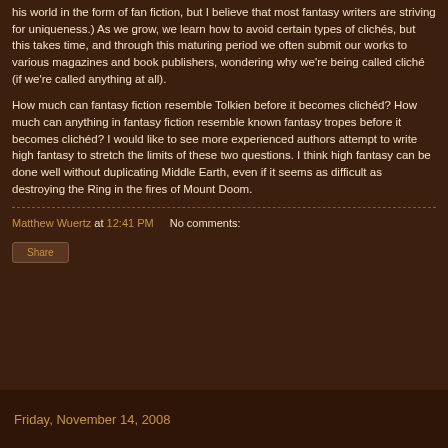his world in the form of fan fiction, but I believe that most fantasy writers are striving for uniqueness.) As we grow, we learn how to avoid certain types of clichés, but this takes time, and through this maturing period we often submit our works to various magazines and book publishers, wondering why we're being called cliché (if we're called anything at all).
How much can fantasy fiction resemble Tolkien before it becomes clichéd? How much can anything in fantasy fiction resemble known fantasy tropes before it becomes clichéd? I would like to see more experienced authors attempt to write high fantasy to stretch the limits of these two questions. I think high fantasy can be done well without duplicating Middle Earth, even if it seems as difficult as destroying the Ring in the fires of Mount Doom.
Matthew Wuertz at 12:41 PM   No comments:
Share
Friday, November 14, 2008